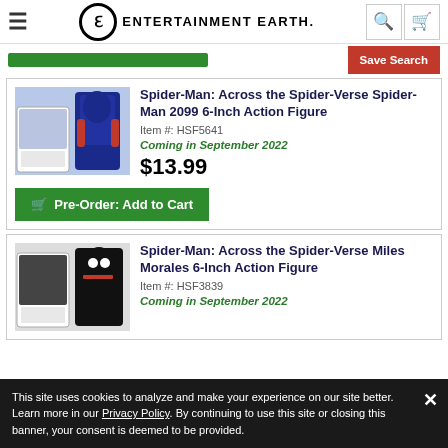Entertainment Earth
Save Search
Spider-Man: Across the Spider-Verse Spider-Man 2099 6-Inch Action Figure
Item #: HSF5641
Coming in September 2022
$13.99
Pre-Order: Add to Cart
Spider-Man: Across the Spider-Verse Miles Morales 6-Inch Action Figure
Item #: HSF3839
Coming in September 2022
This site uses cookies to analyze and make your experience on our site better. Learn more in our Privacy Policy. By continuing to use this site or closing this banner, your consent is deemed to be provided.